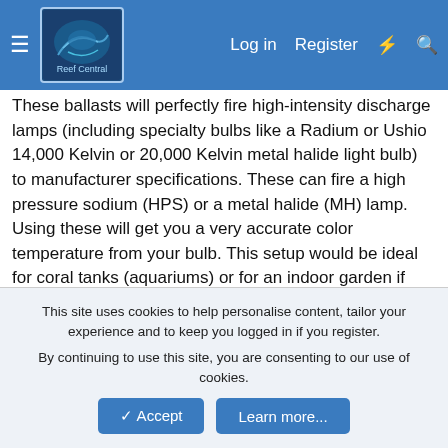Reef Central — Log in | Register
These ballasts will perfectly fire high-intensity discharge lamps (including specialty bulbs like a Radium or Ushio 14,000 Kelvin or 20,000 Kelvin metal halide light bulb) to manufacturer specifications. These can fire a high pressure sodium (HPS) or a metal halide (MH) lamp. Using these will get you a very accurate color temperature from your bulb. This setup would be ideal for coral tanks (aquariums) or for an indoor garden if you're wanting full spectrum lighting. They are designed to be operated on a 220-240 volt circuit at 60 Hz (220V, 230V, 240V). They come with ignitors, motor run capacitors, hospital grade NEMA plugs, and a hospital grade duplex receptacle (everything you need to light your bulbs except the wire). See details below. The ballasts are made in Slovenia, the ignitors were made in Austria, and the motor run capacitors were made in Italy. These are not Chinese junk products.
This site uses cookies to help personalise content, tailor your experience and to keep you logged in if you register.
By continuing to use this site, you are consenting to our use of cookies.